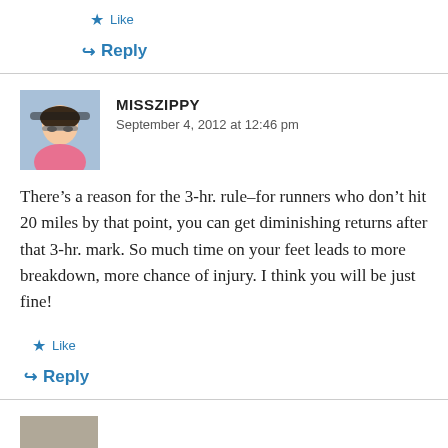Like
Reply
MISSZIPPY
September 4, 2012 at 12:46 pm
There's a reason for the 3-hr. rule–for runners who don't hit 20 miles by that point, you can get diminishing returns after that 3-hr. mark. So much time on your feet leads to more breakdown, more chance of injury. I think you will be just fine!
Like
Reply